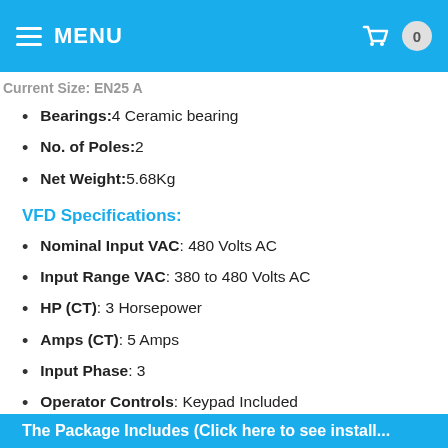MENU
Bearings: 4 Ceramic bearing
No. of Poles: 2
Net Weight: 5.68Kg
VFD Specifications:
Nominal Input VAC : 480 Volts AC
Input Range VAC : 380 to 480 Volts AC
HP (CT) : 3 Horsepower
Amps (CT) : 5 Amps
Input Phase : 3
Operator Controls : Keypad Included
Max. Frequency : 400Hz
Braking Type : DC Injection; Dynamic Braking
Motor Control-Max Level : Open Loop Vector (Sensor less Vector)
Enclosure Rating : IP20